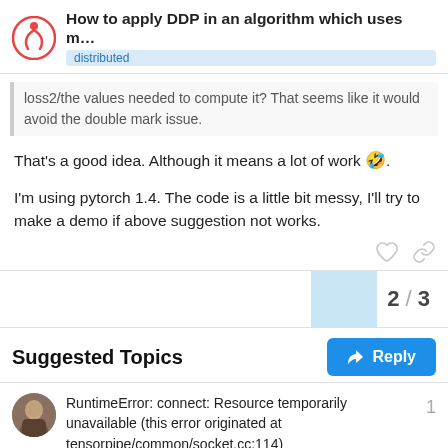How to apply DDP in an algorithm which uses m... distributed
loss2/the values needed to compute it? That seems like it would avoid the double mark issue.
That's a good idea. Although it means a lot of work 🤣.
I'm using pytorch 1.4. The code is a little bit messy, I'll try to make a demo if above suggestion not works.
2 / 3
Suggested Topics
RuntimeError: connect: Resource temporarily unavailable (this error originated at tensorpipe/common/socket.cc:114)